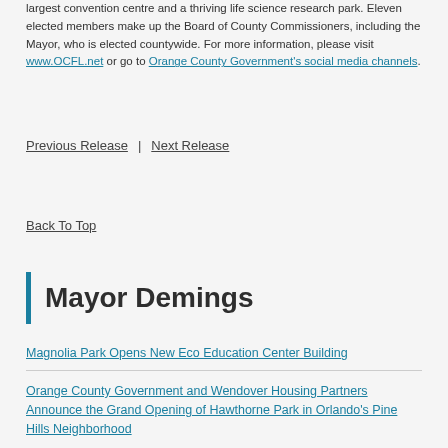largest convention centre and a thriving life science research park. Eleven elected members make up the Board of County Commissioners, including the Mayor, who is elected countywide. For more information, please visit www.OCFL.net or go to Orange County Government's social media channels.
Previous Release | Next Release
Back To Top
Mayor Demings
Magnolia Park Opens New Eco Education Center Building
Orange County Government and Wendover Housing Partners Announce the Grand Opening of Hawthorne Park in Orlando's Pine Hills Neighborhood